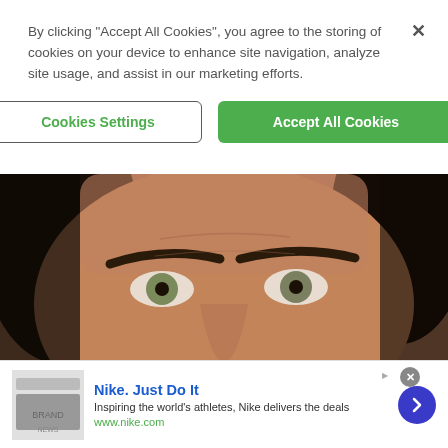By clicking “Accept All Cookies”, you agree to the storing of cookies on your device to enhance site navigation, analyze site usage, and assist in our marketing efforts.
Cookies Settings
Accept All Cookies
[Figure (photo): Close-up photo of a man's face with dark hair, thick dark eyebrows, green eyes, and a mustache/goatee]
[Figure (screenshot): Advertisement banner for Nike. Title: Nike. Just Do It. Description: Inspiring the world's athletes, Nike delivers the deals. URL: www.nike.com. Includes a thumbnail image and a blue circular arrow button.]